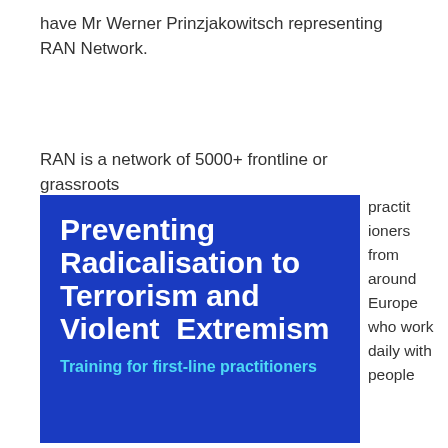have Mr Werner Prinzjakowitsch representing RAN Network.
RAN is a network of 5000+ frontline or grassroots practitioners from around Europe who work daily with people
[Figure (illustration): Blue square book/poster cover titled 'Preventing Radicalisation to Terrorism and Violent Extremism – Training for first-line practitioners' with white bold text and cyan subtitle on blue background.]